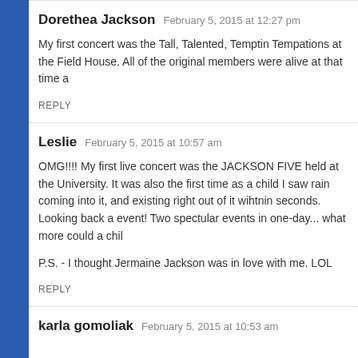Dorethea Jackson — February 5, 2015 at 12:27 pm
My first concert was the Tall, Talented, Temptin Tempations at the Field House. All of the original members were alive at that time a
REPLY
Leslie — February 5, 2015 at 10:57 am
OMG!!!! My first live concert was the JACKSON FIVE held at the University. It was also the first time as a child I saw rain coming into it, and existing right out of it wihtnin seconds. Looking back a event! Two spectular events in one-day... what more could a chil
P.S. - I thought Jermaine Jackson was in love with me. LOL
REPLY
karla gomoliak — February 5, 2015 at 10:53 am